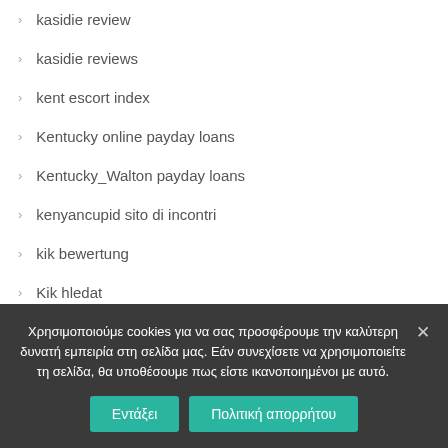kasidie review
kasidie reviews
kent escort index
Kentucky online payday loans
Kentucky_Walton payday loans
kenyancupid sito di incontri
kik bewertung
Kik hledat
kik premium
Χρησιμοποιούμε cookies για να σας προσφέρουμε την καλύτερη δυνατή εμπειρία στη σελίδα μας. Εάν συνεχίσετε να χρησιμοποιείτε τη σελίδα, θα υποθέσουμε πως είστε ικανοποιημένοι με αυτό.
Εντάξει
Πολιτική απορρήτου